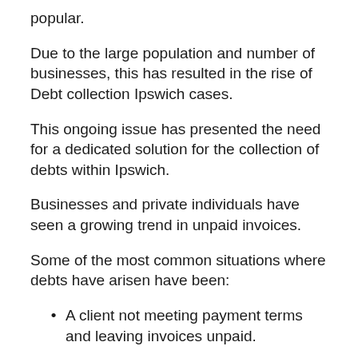popular.
Due to the large population and number of businesses, this has resulted in the rise of Debt collection Ipswich cases.
This ongoing issue has presented the need for a dedicated solution for the collection of debts within Ipswich.
Businesses and private individuals have seen a growing trend in unpaid invoices.
Some of the most common situations where debts have arisen have been:
A client not meeting payment terms and leaving invoices unpaid.